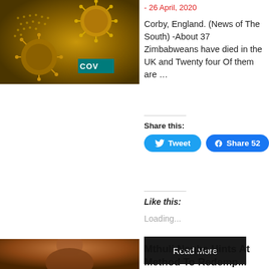[Figure (photo): Golden-toned image of COVID-19 coronavirus particles with 'COV' text overlay on teal background]
- 26 April, 2020
Corby, England. (News of The South) -About 37 Zimbabweans have died in the UK and Twenty four Of them are …
Share this:
Tweet
Share 52
Like this:
Loading...
Read More
[Figure (photo): Portrait photo of a person, bottom of image cut off]
Mthuli Ncube Hints At